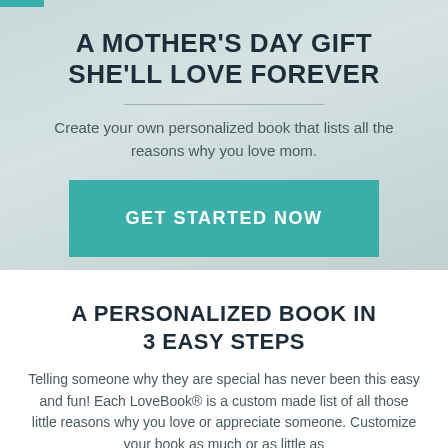A MOTHER'S DAY GIFT SHE'LL LOVE FOREVER
Create your own personalized book that lists all the reasons why you love mom.
GET STARTED NOW
A PERSONALIZED BOOK IN 3 EASY STEPS
Telling someone why they are special has never been this easy and fun! Each LoveBook® is a custom made list of all those little reasons why you love or appreciate someone. Customize your book as much or as little as